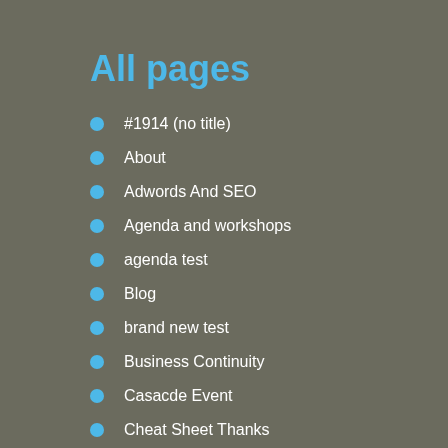All pages
#1914 (no title)
About
Adwords And SEO
Agenda and workshops
agenda test
Blog
brand new test
Business Continuity
Casacde Event
Cheat Sheet Thanks
Contact Me
Digital Marketing Hacks